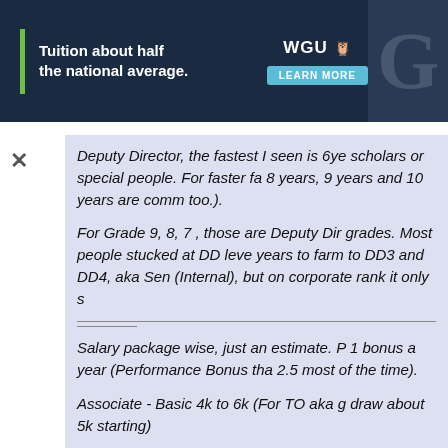[Figure (other): WGU advertisement banner with dark blue background, green accent bar, text 'Tuition about half the national average.', WGU logo, and 'LEARN MORE' button]
Deputy Director, the fastest I seen is 6ye scholars or special people. For faster fa 8 years, 9 years and 10 years are comm too.).
For Grade 9, 8, 7 , those are Deputy Dir grades. Most people stucked at DD leve years to farm to DD3 and DD4, aka Sen (Internal), but on corporate rank it only s
Salary package wise, just an estimate. P 1 bonus a year (Performance Bonus tha 2.5 most of the time).
Associate - Basic 4k to 6k (For TO aka g draw about 5k starting)